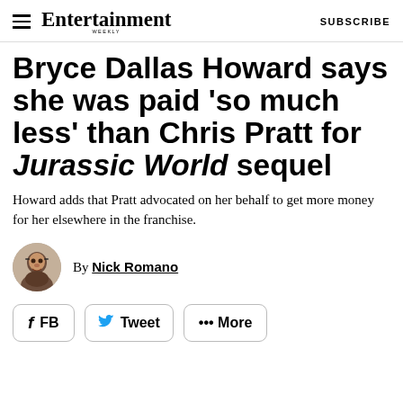Entertainment Weekly — SUBSCRIBE
Bryce Dallas Howard says she was paid 'so much less' than Chris Pratt for Jurassic World sequel
Howard adds that Pratt advocated on her behalf to get more money for her elsewhere in the franchise.
By Nick Romano
FB   Tweet   ••• More